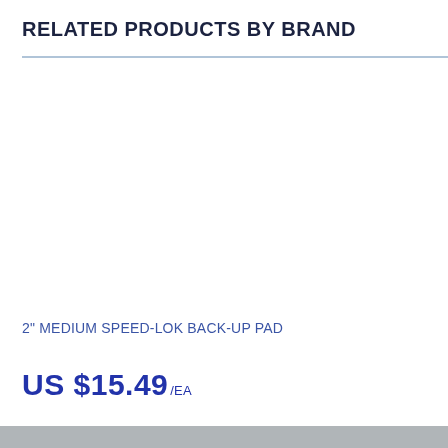RELATED PRODUCTS BY BRAND
2" MEDIUM SPEED-LOK BACK-UP PAD
US $15.49 /EA